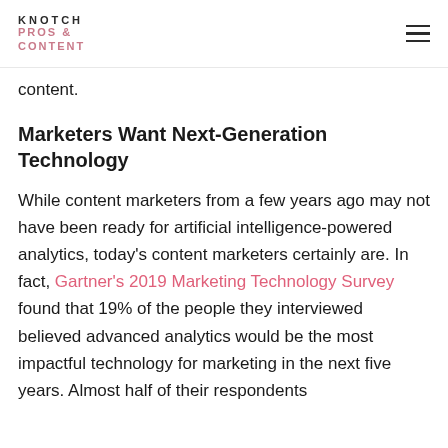KNOTCH PROS & CONTENT
content.
Marketers Want Next-Generation Technology
While content marketers from a few years ago may not have been ready for artificial intelligence-powered analytics, today's content marketers certainly are. In fact, Gartner's 2019 Marketing Technology Survey found that 19% of the people they interviewed believed advanced analytics would be the most impactful technology for marketing in the next five years. Almost half of their respondents